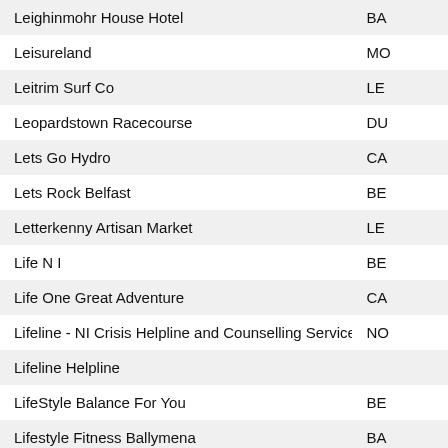| Name | Code |
| --- | --- |
| Leighinmohr House Hotel | BA |
| Leisureland | MO |
| Leitrim Surf Co | LE |
| Leopardstown Racecourse | DU |
| Lets Go Hydro | CA |
| Lets Rock Belfast | BE |
| Letterkenny Artisan Market | LE |
| Life N I | BE |
| Life One Great Adventure | CA |
| Lifeline - NI Crisis Helpline and Counselling Service | NO |
| Lifeline Helpline |  |
| LifeStyle Balance For You | BE |
| Lifestyle Fitness Ballymena | BA |
| Lifestyle Fitness Clonoe | CO |
| Lilys Flowers | BE |
| Limavady Cricket & Rugby Club | LI |
| Linen Hall Library | BE |
| Lipstick and Lashes | DU |
| Lisburn Road |  |